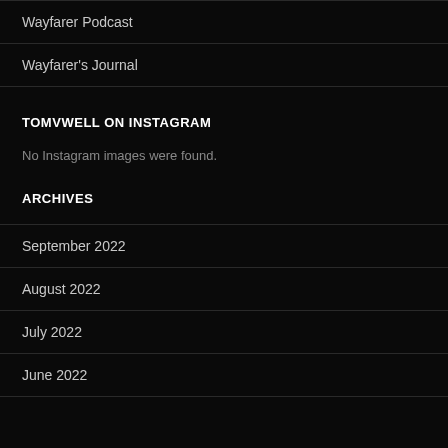Wayfarer Podcast
Wayfarer's Journal
TOMVWELL ON INSTAGRAM
No Instagram images were found.
ARCHIVES
September 2022
August 2022
July 2022
June 2022